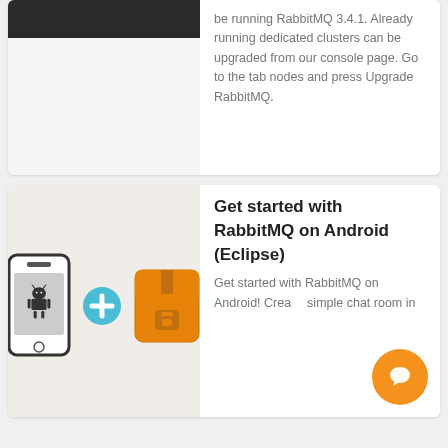[Figure (illustration): Black screenshot image at top of card]
be running RabbitMQ 3.4.1. Already running dedicated clusters can be upgraded from our console page. Go to the tab nodes and press Upgrade RabbitMQ.
[Figure (illustration): Android phone plus RabbitMQ logo illustration]
Get started with RabbitMQ on Android (Eclipse)
Get started with RabbitMQ on Android! Create a simple chat room in